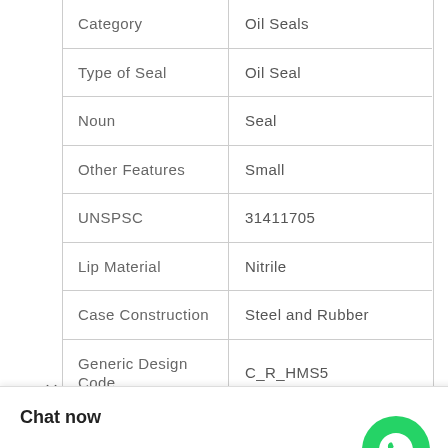| Property | Value |
| --- | --- |
| Category | Oil Seals |
| Type of Seal | Oil Seal |
| Noun | Seal |
| Other Features | Small |
| UNSPSC | 31411705 |
| Lip Material | Nitrile |
| Case Construction | Steel and Rubber |
| Generic Design Code | C_R_HMS5 |
| Inch - Metric | Metric |
| EAN | 7316572548295 |
|  | MM Shaft Dia; 25 |
[Figure (illustration): WhatsApp green circle icon with phone handset symbol, labeled WhatsApp Online]
Chat now